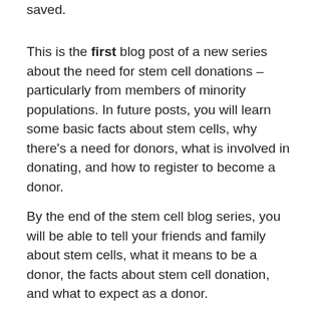saved.
This is the first blog post of a new series about the need for stem cell donations –particularly from members of minority populations. In future posts, you will learn some basic facts about stem cells, why there's a need for donors, what is involved in donating, and how to register to become a donor.
By the end of the stem cell blog series, you will be able to tell your friends and family about stem cells, what it means to be a donor, the facts about stem cell donation, and what to expect as a donor.